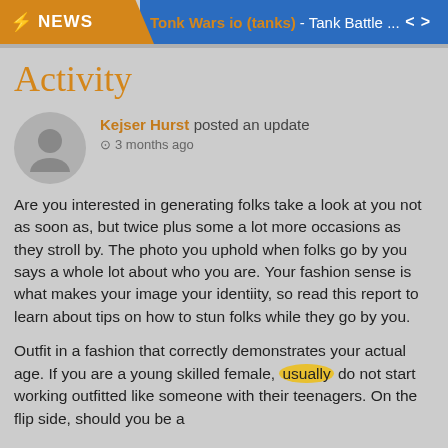NEWS | Tonk Wars io (tanks) - Tank Battle ...
Activity
Kejser Hurst posted an update
3 months ago
Are you interested in generating folks take a look at you not as soon as, but twice plus some a lot more occasions as they stroll by. The photo you uphold when folks go by you says a whole lot about who you are. Your fashion sense is what makes your image your identiity, so read this report to learn about tips on how to stun folks while they go by you.
Outfit in a fashion that correctly demonstrates your actual age. If you are a young skilled female, usually do not start working outfitted like someone with their teenagers. On the flip side, should you be a